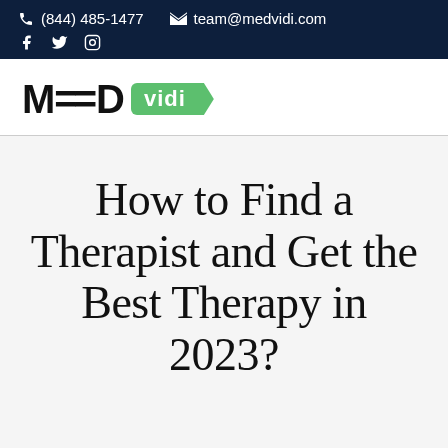(844) 485-1477  team@medvidi.com
[Figure (logo): MEDvidi logo with green badge]
How to Find a Therapist and Get the Best Therapy in 2023?